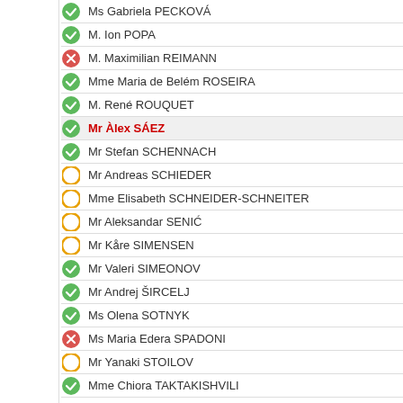Ms Gabriela PECKOVÁ
M. Ion POPA
M. Maximilian REIMANN
Mme Maria de Belém ROSEIRA
M. René ROUQUET
Mr Àlex SÁEZ
Mr Stefan SCHENNACH
Mr Andreas SCHIEDER
Mme Elisabeth SCHNEIDER-SCHNEITER
Mr Aleksandar SENIĆ
Mr Kåre SIMENSEN
Mr Valeri SIMEONOV
Mr Andrej ŠIRCELJ
Ms Olena SOTNYK
Ms Maria Edera SPADONI
Mr Yanaki STOILOV
Mme Chiora TAKTAKISHVILI